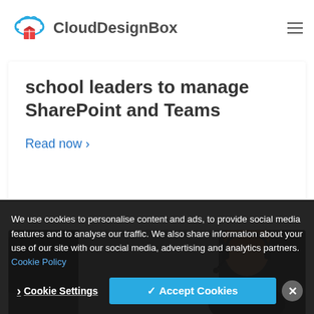CloudDesignBox
school leaders to manage SharePoint and Teams
Read now >
[Figure (photo): Woman with headset working at a computer, viewed from the side in a dark setting]
We use cookies to personalise content and ads, to provide social media features and to analyse our traffic. We also share information about your use of our site with our social media, advertising and analytics partners. Cookie Policy
Cookie Settings | ✓ Accept Cookies